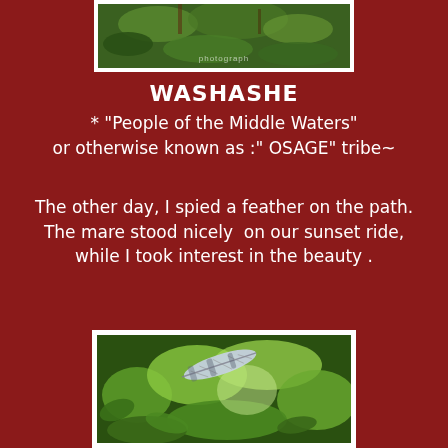[Figure (photo): Top partial photo of green foliage/plants with watermark text overlay]
WASHASHE
* "People of the Middle Waters"
or otherwise known as :" OSAGE" tribe~
The other day, I spied a feather on the path. The mare stood nicely  on our sunset ride, while I took interest in the beauty .
[Figure (photo): Photo of a feather lying on green grass and plants on the ground]